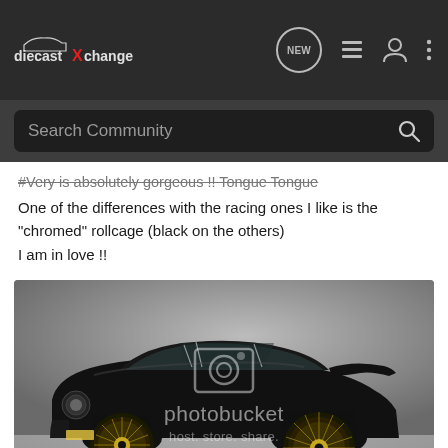diecastXchange — navigation bar with NEW, list, user, and menu icons
Search Community
#Very is absolutely gorgeous !! Tongue Tongue
One of the differences with the racing ones I like is the "chromed" rollcage (black on the others)
I am in love !!
[Figure (photo): Black Porsche 934/935 diecast model car, three-quarter front view, displayed against a grey background. Gold BBS-style mesh wheels visible. Photobucket watermark overlay with 'host. store. share.' text.]